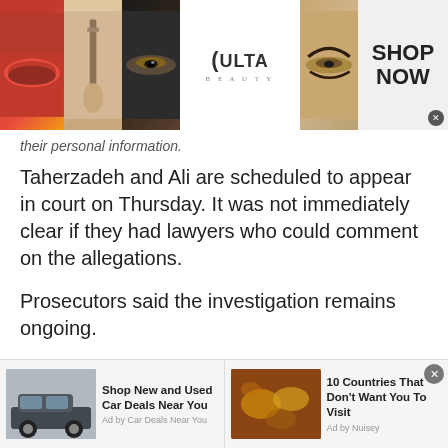[Figure (photo): Ulta Beauty advertisement banner at top showing makeup images: red lips, makeup brush, dramatic eye, Ulta Beauty logo with 'SHOP NOW' call to action]
their personal information.
Taherzadeh and Ali are scheduled to appear in court on Thursday. It was not immediately clear if they had lawyers who could comment on the allegations.
Prosecutors said the investigation remains ongoing.
The post Prosecutors: 2 posed as agents, gave gifts to Secret Service officers appeared first on Politico.
[Figure (photo): Two advertisement blocks at bottom: left shows SUV car with 'Shop New and Used Car Deals Near You' by Car Deals Near You; right shows world map with '10 Countries That Don't Want You To Visit' by Nuisey]